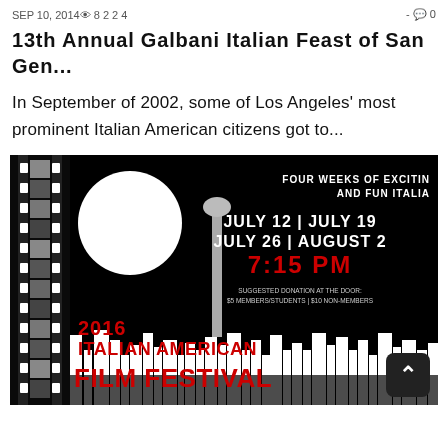SEP 10, 2014 👁 8 2 2 4  -  💬 0
13th Annual Galbani Italian Feast of San Gen...
In September of 2002, some of Los Angeles' most prominent Italian American citizens got to...
[Figure (photo): Poster for the 2016 Italian American Film Festival featuring film strip, moon, city silhouette, and text: FOUR WEEKS OF EXCITING AND FUN ITALIA | JULY 12 | JULY 19 | JULY 26 | AUGUST 2 | 7:15 PM | SUGGESTED DONATION AT THE DOOR: $5 MEMBERS/STUDENTS | $10 NON-MEMBERS]